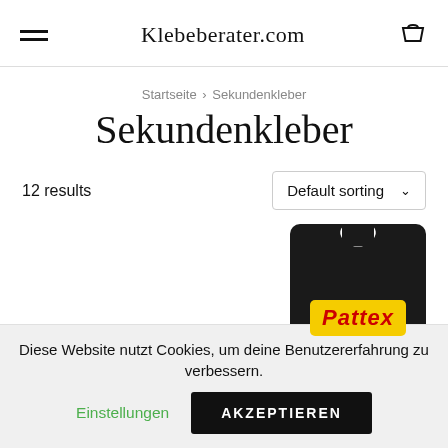Klebeberater.com
Startseite > Sekundenkleber
Sekundenkleber
12 results
Default sorting
[Figure (photo): Pattex product packaging — black card with yellow Pattex logo label]
Diese Website nutzt Cookies, um deine Benutzererfahrung zu verbessern. Einstellungen AKZEPTIEREN